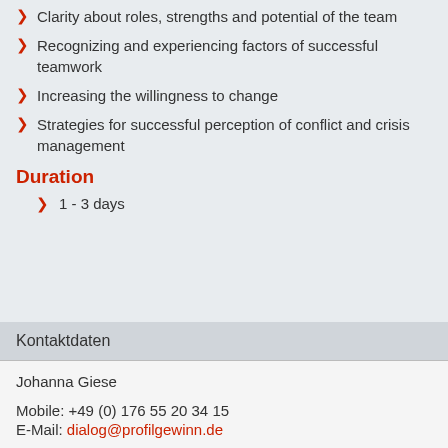Clarity about roles, strengths and potential of the team
Recognizing and experiencing factors of successful teamwork
Increasing the willingness to change
Strategies for successful perception of conflict and crisis management
Duration
1 - 3 days
Kontaktdaten
Johanna Giese

Mobile: +49 (0) 176 55 20 34 15
E-Mail: dialog@profilgewinn.de